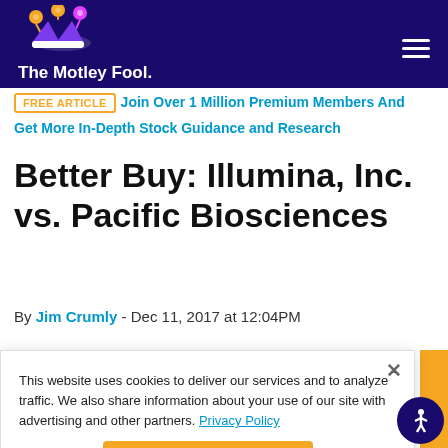The Motley Fool
FREE ARTICLE  Join Over 1 Million Premium Members And Get More In-Depth Stock Guidance and Research
Better Buy: Illumina, Inc. vs. Pacific Biosciences
By Jim Crumly - Dec 11, 2017 at 12:04PM
This website uses cookies to deliver our services and to analyze traffic. We also share information about your use of our site with advertising and other partners. Privacy Policy
Got it
Cookie Settings